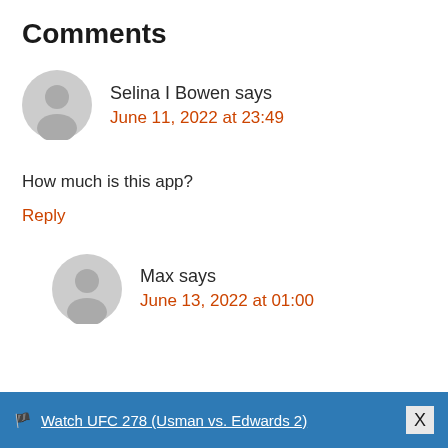Comments
Selina I Bowen says
June 11, 2022 at 23:49
How much is this app?
Reply
Max says
June 13, 2022 at 01:00
🏴 Watch UFC 278 (Usman vs. Edwards 2)   X